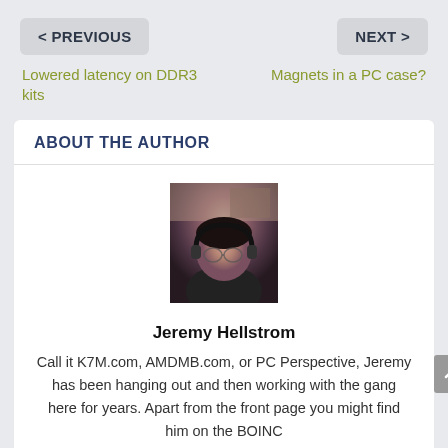< PREVIOUS
NEXT >
Lowered latency on DDR3 kits
Magnets in a PC case?
ABOUT THE AUTHOR
[Figure (photo): Headshot photo of Jeremy Hellstrom, a person wearing headphones and a black shirt, seated indoors]
Jeremy Hellstrom
Call it K7M.com, AMDMB.com, or PC Perspective, Jeremy has been hanging out and then working with the gang here for years. Apart from the front page you might find him on the BOINC